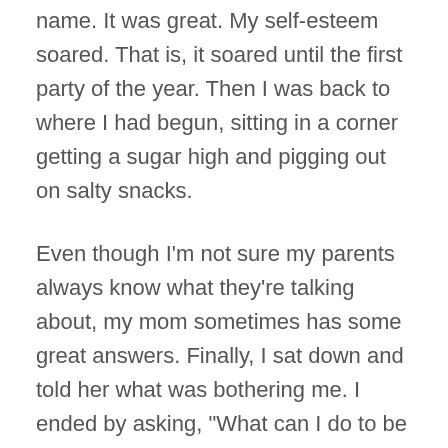name. It was great. My self-esteem soared. That is, it soared until the first party of the year. Then I was back to where I had begun, sitting in a corner getting a sugar high and pigging out on salty snacks.
Even though I'm not sure my parents always know what they're talking about, my mom sometimes has some great answers. Finally, I sat down and told her what was bothering me. I ended by asking, "What can I do to be more popular?"
My mother smiled and said, "The best way to get people interested in you is for you to be interested in them. Ask them questions. Show them that you're interested. They'll become interested in you. If you know something that another person likes, ask them about it."